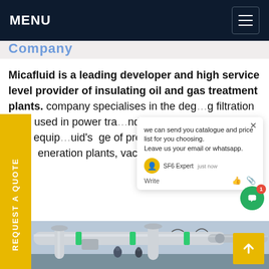MENU
Company (partially visible heading)
Micafluid is a leading developer and high service level provider of insulating oil and gas treatment plants. company specialises in the deg... g filtration of oil used in power tra... nd ociated high-voltage (HV) equip... uid's ge of products consists of oil tre... eneration plants, vacuum pump...
[Figure (screenshot): Chat popup overlay with message: 'we can send you catalogue and price list for you choosing. Leave us your email or whatsapp.' SF6 Expert, just now. Write button with emoji icons.]
[Figure (photo): Industrial photo showing large insulating oil/gas treatment plant piping and equipment, with green-banded pipes and workers in background.]